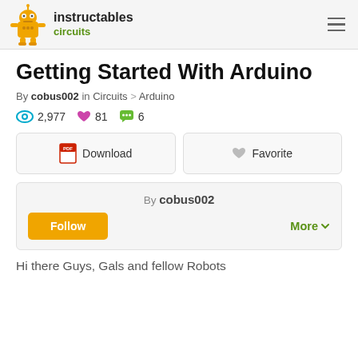instructables circuits
Getting Started With Arduino
By cobus002 in Circuits > Arduino
2,977 views  81 favorites  6 comments
Download  Favorite
By cobus002  Follow  More
Hi there Guys, Gals and fellow Robots